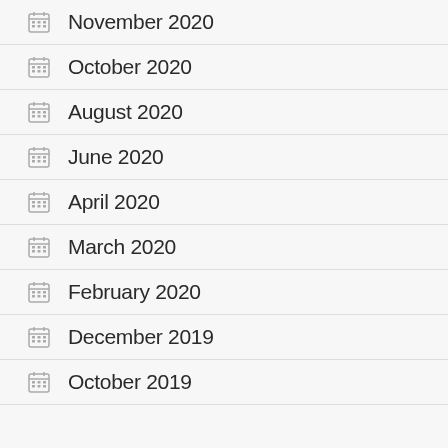November 2020
October 2020
August 2020
June 2020
April 2020
March 2020
February 2020
December 2019
October 2019